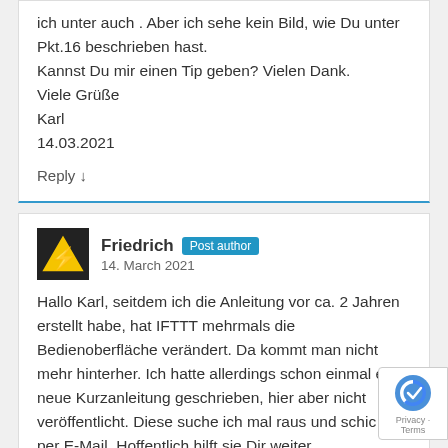ich unter auch . Aber ich sehe kein Bild, wie Du unter Pkt.16 beschrieben hast.
Kannst Du mir einen Tip geben? Vielen Dank.
Viele Grüße
Karl
14.03.2021
Reply ↓
Friedrich Post author
14. March 2021
Hallo Karl, seitdem ich die Anleitung vor ca. 2 Jahren erstellt habe, hat IFTTT mehrmals die Bedienoberfläche verändert. Da kommt man nicht mehr hinterher. Ich hatte allerdings schon einmal eine neue Kurzanleitung geschrieben, hier aber nicht veröffentlicht. Diese suche ich mal raus und schic Dir per E-Mail. Hoffentlich hilft sie Dir weiter.